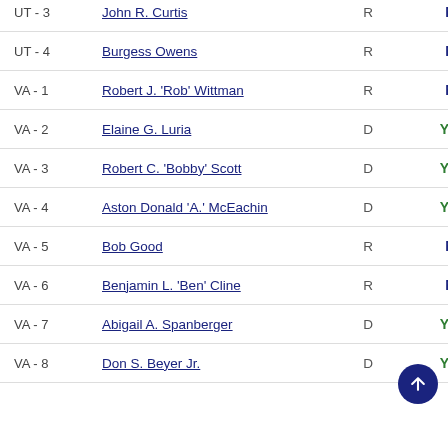| District | Name | Party | Vote |
| --- | --- | --- | --- |
| UT - 3 | John R. Curtis | R | No |
| UT - 4 | Burgess Owens | R | No |
| VA - 1 | Robert J. 'Rob' Wittman | R | No |
| VA - 2 | Elaine G. Luria | D | Yes |
| VA - 3 | Robert C. 'Bobby' Scott | D | Yes |
| VA - 4 | Aston Donald 'A.' McEachin | D | Yes |
| VA - 5 | Bob Good | R | No |
| VA - 6 | Benjamin L. 'Ben' Cline | R | No |
| VA - 7 | Abigail A. Spanberger | D | Yes |
| VA - 8 | Don S. Beyer Jr. | D | Yes |